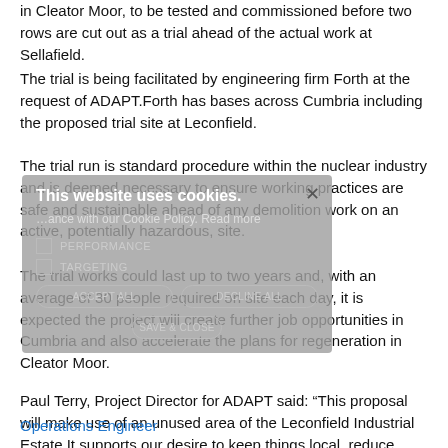in Cleator Moor, to be tested and commissioned before two rows are cut out as a trial ahead of the actual work at Sellafield.
The trial is being facilitated by engineering firm Forth at the request of ADAPT.Forth has bases across Cumbria including the proposed trial site at Leconfield.
The trial run is standard procedure within the nuclear industry and is deemed necessary to ensure working practices are safe and sustainable ahead of any demolition work on an active, potentially hazardous, site.
The trial works could last up to two years and, with an average of 30 people required on site each day, it is expected the project will create further job opportunities in Cumbria and also accelerate the plans for regeneration in Cleator Moor.
Paul Terry, Project Director for ADAPT said: “This proposal will make use of an unused area of the Leconfield Industrial Estate.It supports our desire to keep things local, reduce travel and use local resources and supply chain wherever possible.
Operations Engineer